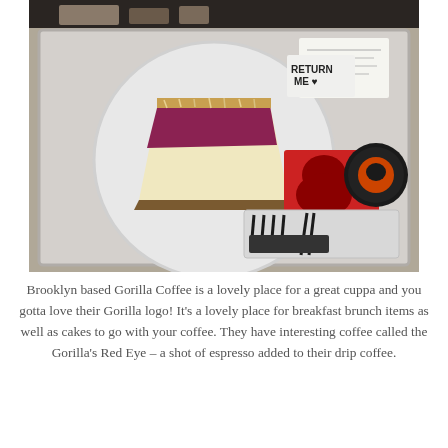[Figure (photo): A food tray at Gorilla Coffee in Brooklyn showing a slice of cheesecake with berry and coconut topping on a white plate, alongside black plastic cutlery in a plastic wrap, a red Gorilla Coffee napkin/card, a round black coaster with the Gorilla Coffee logo, and a receipt, all on a metal tray.]
Brooklyn based Gorilla Coffee is a lovely place for a great cuppa and you gotta love their Gorilla logo! It's a lovely place for breakfast brunch items as well as cakes to go with your coffee. They have interesting coffee called the Gorilla's Red Eye – a shot of espresso added to their drip coffee.